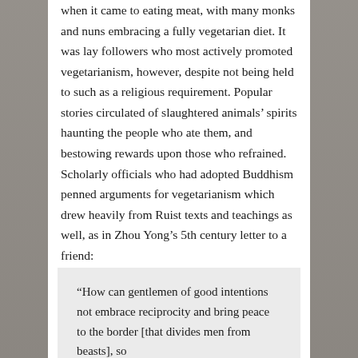when it came to eating meat, with many monks and nuns embracing a fully vegetarian diet. It was lay followers who most actively promoted vegetarianism, however, despite not being held to such as a religious requirement. Popular stories circulated of slaughtered animals' spirits haunting the people who ate them, and bestowing rewards upon those who refrained. Scholarly officials who had adopted Buddhism penned arguments for vegetarianism which drew heavily from Ruist texts and teachings as well, as in Zhou Yong's 5th century letter to a friend:
“How can gentlemen of good intentions not embrace reciprocity and bring peace to the border [that divides men from beasts], so